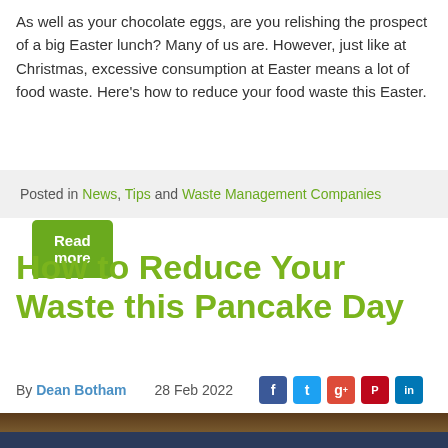As well as your chocolate eggs, are you relishing the prospect of a big Easter lunch? Many of us are. However, just like at Christmas, excessive consumption at Easter means a lot of food waste. Here's how to reduce your food waste this Easter.
Read more
Posted in News, Tips and Waste Management Companies
How to Reduce Your Waste this Pancake Day
By Dean Botham   28 Feb 2022
[Figure (photo): Bottom portion of a dark photograph showing a pancake on a blue plate, partially visible]